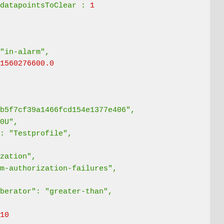datapointsToClear : 1


"in-alarm",
1560276600.0


b5f7cf39a1466fcd154e1377e406",
0U",
: "Testprofile",

zation",
m-authorization-failures",

berator": "greater-than",

10

onds": 300,
datapointsToAlarm": 1,
datapointsToClear": 1